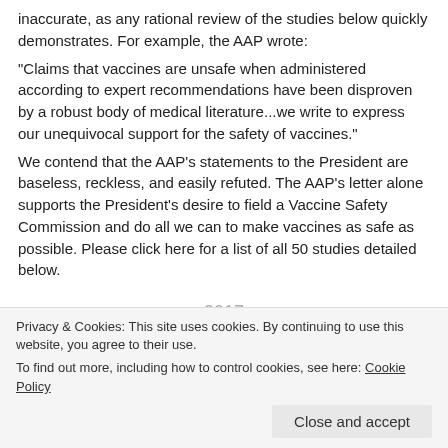inaccurate, as any rational review of the studies below quickly demonstrates. For example, the AAP wrote:
"Claims that vaccines are unsafe when administered according to expert recommendations have been disproven by a robust body of medical literature...we write to express our unequivocal support for the safety of vaccines."
We contend that the AAP's statements to the President are baseless, reckless, and easily refuted. The AAP's letter alone supports the President's desire to field a Vaccine Safety Commission and do all we can to make vaccines as safe as possible. Please click here for a list of all 50 studies detailed below.
2017
Temporal Association of Certain Neuropsychiatric Disorders Following Vaccination of Children and